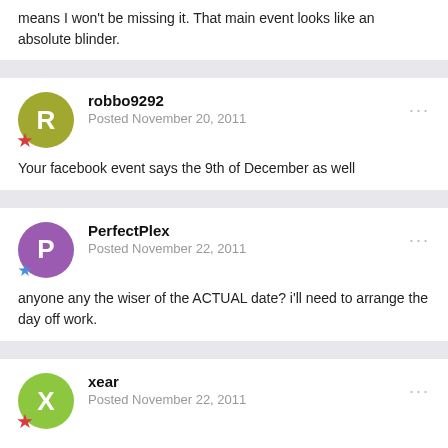means I won't be missing it. That main event looks like an absolute blinder.
robbo9292
Posted November 20, 2011
Your facebook event says the 9th of December as well
PerfectPlex
Posted November 22, 2011
anyone any the wiser of the ACTUAL date? i'll need to arrange the day off work.
xear
Posted November 22, 2011